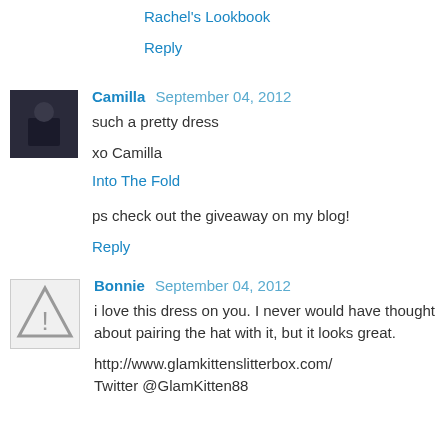Rachel's Lookbook
Reply
Camilla  September 04, 2012
such a pretty dress
xo Camilla
Into The Fold
ps check out the giveaway on my blog!
Reply
Bonnie  September 04, 2012
i love this dress on you. I never would have thought about pairing the hat with it, but it looks great.
http://www.glamkittenslitterbox.com/
Twitter @GlamKitten88